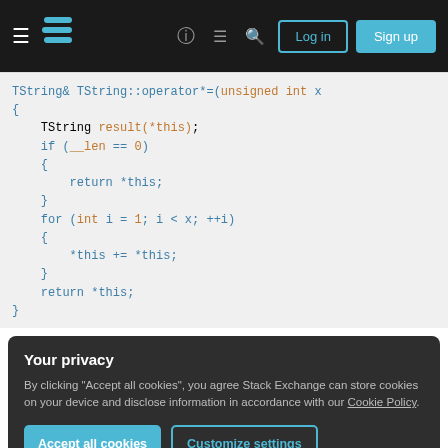Stack Exchange navigation bar with hamburger menu, logo, help, chat, search icons, Log in and Sign up buttons
[Figure (screenshot): Code snippet showing C++ TString operator*= function with blue and orange syntax highlighting on light gray background]
Your privacy
By clicking "Accept all cookies", you agree Stack Exchange can store cookies on your device and disclose information in accordance with our Cookie Policy.
Accept all cookies   Customize settings
I would have thought this function repeats the